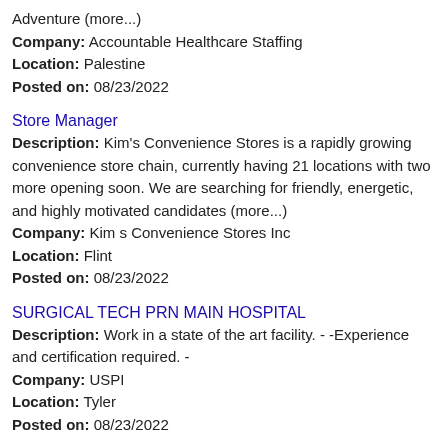Adventure (more...)
Company: Accountable Healthcare Staffing
Location: Palestine
Posted on: 08/23/2022
Store Manager
Description: Kim's Convenience Stores is a rapidly growing convenience store chain, currently having 21 locations with two more opening soon. We are searching for friendly, energetic, and highly motivated candidates (more...)
Company: Kim s Convenience Stores Inc
Location: Flint
Posted on: 08/23/2022
SURGICAL TECH PRN MAIN HOSPITAL
Description: Work in a state of the art facility. - -Experience and certification required. -
Company: USPI
Location: Tyler
Posted on: 08/23/2022
Physician - Pediatrics - General Pediatrician Opportunities Throughout Tx